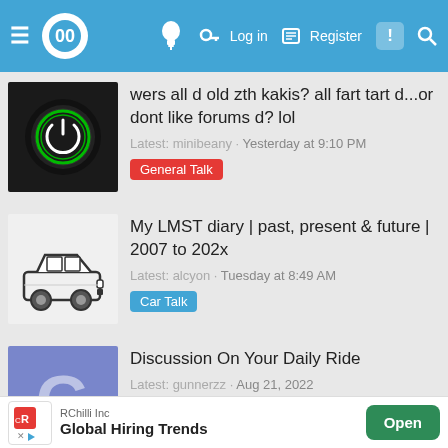Navigation bar with logo, login, register, search icons
wers all d old zth kakis? all fart tart d...or dont like forums d? lol
Latest: minibeany · Yesterday at 9:10 PM
General Talk
My LMST diary | past, present & future | 2007 to 202x
Latest: alcyon · Tuesday at 8:49 AM
Car Talk
Discussion On Your Daily Ride
Latest: gunnerzz · Aug 21, 2022
Car Talk
RChilli Inc — Global Hiring Trends — Open